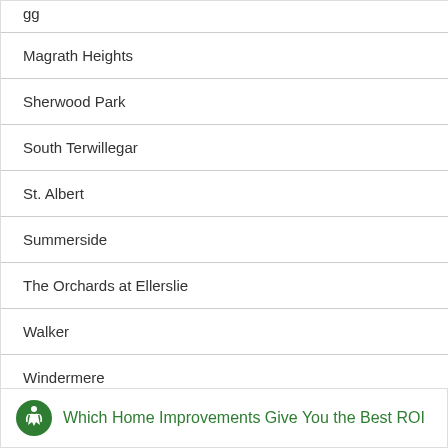Magrath Heights
Sherwood Park
South Terwillegar
St. Albert
Summerside
The Orchards at Ellerslie
Walker
Windermere
Which Home Improvements Give You the Best ROI